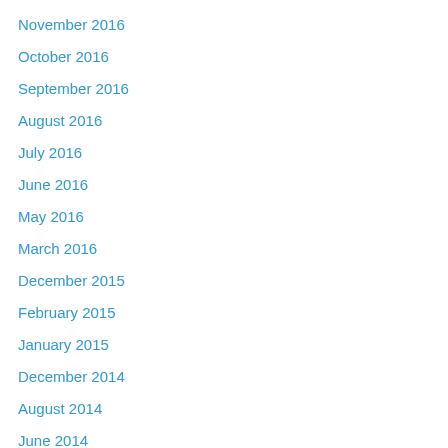November 2016
October 2016
September 2016
August 2016
July 2016
June 2016
May 2016
March 2016
December 2015
February 2015
January 2015
December 2014
August 2014
June 2014
April 2014
January 2014
December 2013
July 2013
April 2013
February 2013